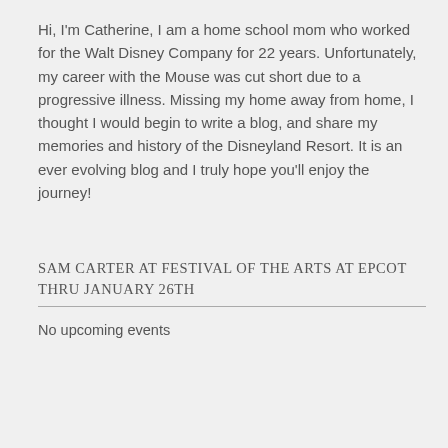Hi, I'm Catherine, I am a home school mom who worked for the Walt Disney Company for 22 years. Unfortunately, my career with the Mouse was cut short due to a progressive illness. Missing my home away from home, I thought I would begin to write a blog, and share my memories and history of the Disneyland Resort. It is an ever evolving blog and I truly hope you'll enjoy the journey!
SAM CARTER AT FESTIVAL OF THE ARTS AT EPCOT THRU JANUARY 26TH
No upcoming events